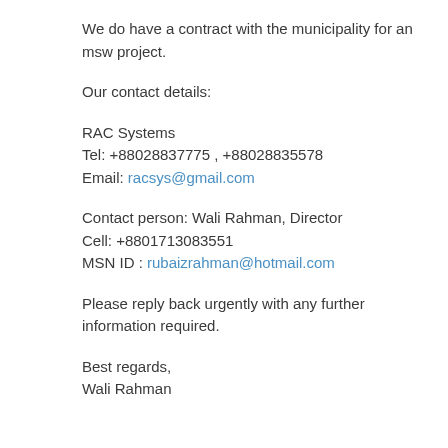We do have a contract with the municipality for an msw project.
Our contact details:
RAC Systems
Tel: +88028837775 , +88028835578
Email: racsys@gmail.com
Contact person: Wali Rahman, Director
Cell: +8801713083551
MSN ID : rubaizrahman@hotmail.com
Please reply back urgently with any further information required.
Best regards,
Wali Rahman